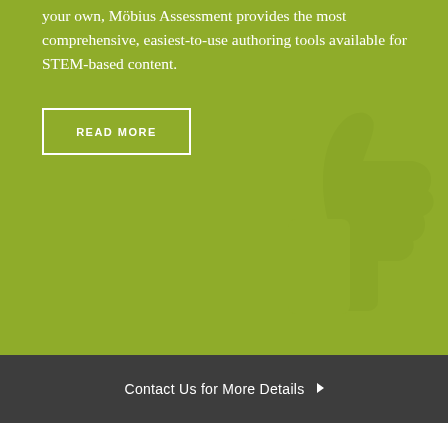your own, Möbius Assessment provides the most comprehensive, easiest-to-use authoring tools available for STEM-based content.
READ MORE
[Figure (illustration): Faint thumbs-up icon watermark in lighter green on the green background, positioned at bottom right]
Contact Us for More Details ▶